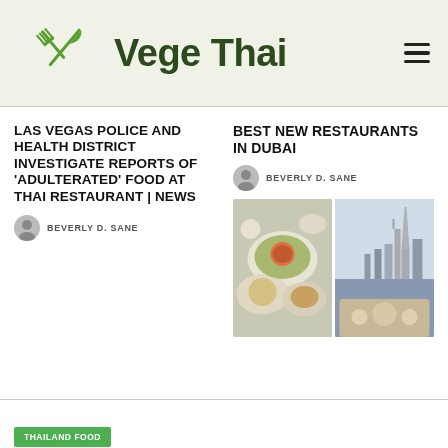[Figure (logo): Vege Thai website header with crossed knife and fork logo in green, site title 'Vege Thai' in dark green bold, and hamburger menu icon]
LAS VEGAS POLICE AND HEALTH DISTRICT INVESTIGATE REPORTS OF 'ADULTERATED' FOOD AT THAI RESTAURANT | NEWS
BEVERLY D. SANE
BEST NEW RESTAURANTS IN DUBAI
BEVERLY D. SANE
[Figure (photo): Two-panel food photo collage: left panel shows overhead view of dishes with pizza and salads; right panel shows rooftop restaurant with Dubai skyline in background]